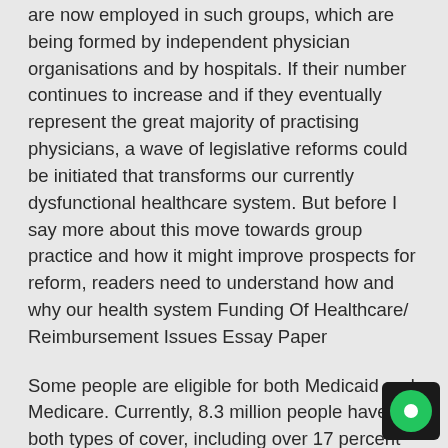are now employed in such groups, which are being formed by independent physician organisations and by hospitals. If their number continues to increase and if they eventually represent the great majority of practising physicians, a wave of legislative reforms could be initiated that transforms our currently dysfunctional healthcare system. But before I say more about this move towards group practice and how it might improve prospects for reform, readers need to understand how and why our health system Funding Of Healthcare/ Reimbursement Issues Essay Paper
Some people are eligible for both Medicaid and Medicare. Currently, 8.3 million people have both types of cover, including over 17 percent of Medicaid enrollees. Seniors with a low income and people with disabilities may be eligible for both.
According to the 2014 Tennessee Department of Health Joint Annual Report of Hospitals, the average